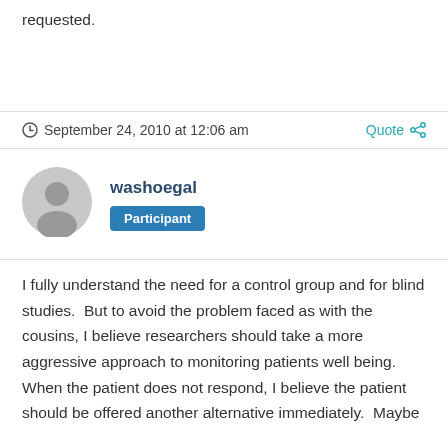requested.
September 24, 2010 at 12:06 am
washoegal
Participant
I fully understand the need for a control group and for blind studies.  But to avoid the problem faced as with the cousins, I believe researchers should take a more aggressive approach to monitoring patients well being. When the patient does not respond, I believe the patient should be offered another alternative immediately.  Maybe